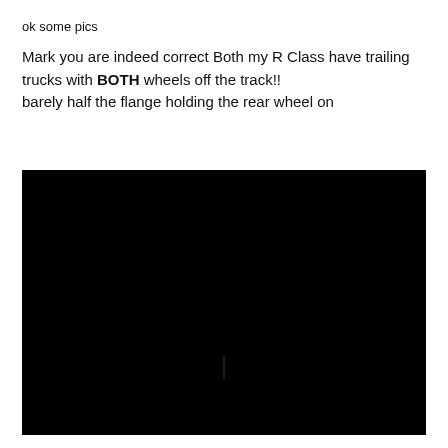ok some pics
Mark you are indeed correct Both my R Class have trailing trucks with BOTH wheels off the track!!
barely half the flange holding the rear wheel on
[Figure (photo): A very dark/black photograph, nearly entirely black with minimal visible detail, showing a small vertical line near the center.]